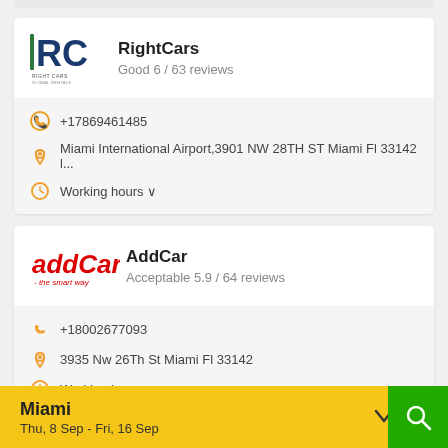[Figure (logo): RightCars logo - RC letters with 'RIGHT CARS GLOBAL RENTALS' text]
RightCars
Good 6 / 63 reviews
+17869461485
Miami International Airport,3901 NW 28TH ST Miami Fl 33142 l...
Working hours ∨
[Figure (logo): AddCar logo - italic red text 'addCar - the smart way']
AddCar
Acceptable 5.9 / 64 reviews
+18002677093
3935 Nw 26Th St Miami Fl 33142
Working hours ∨
Miami
Thu, 8 Sep - Fri, 16 Sep